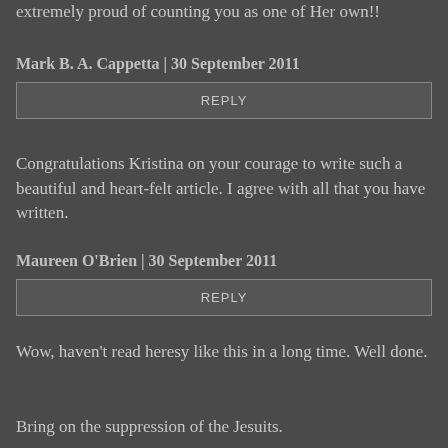extremely proud of counting you as one of Her own!!
Mark B. A. Cappetta | 30 September 2011
REPLY
Congratulations Kristina on your courage to write such a beautiful and heart-felt article. I agree with all that you have written.
Maureen O'Brien | 30 September 2011
REPLY
Wow, haven't read heresy like this in a long time. Well done.
Bring on the suppression of the Jesuits.